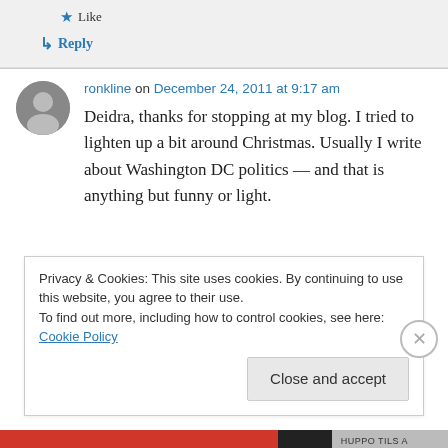★ Like
↳ Reply
ronkline on December 24, 2011 at 9:17 am
Deidra, thanks for stopping at my blog. I tried to lighten up a bit around Christmas. Usually I write about Washington DC politics — and that is anything but funny or light.
Privacy & Cookies: This site uses cookies. By continuing to use this website, you agree to their use.
To find out more, including how to control cookies, see here: Cookie Policy
Close and accept